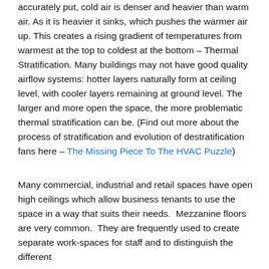accurately put, cold air is denser and heavier than warm air. As it is heavier it sinks, which pushes the warmer air up. This creates a rising gradient of temperatures from warmest at the top to coldest at the bottom – Thermal Stratification. Many buildings may not have good quality airflow systems: hotter layers naturally form at ceiling level, with cooler layers remaining at ground level. The larger and more open the space, the more problematic thermal stratification can be. (Find out more about the process of stratification and evolution of destratification fans here – The Missing Piece To The HVAC Puzzle)
Many commercial, industrial and retail spaces have open high ceilings which allow business tenants to use the space in a way that suits their needs.  Mezzanine floors are very common.  They are frequently used to create separate work-spaces for staff and to distinguish the different